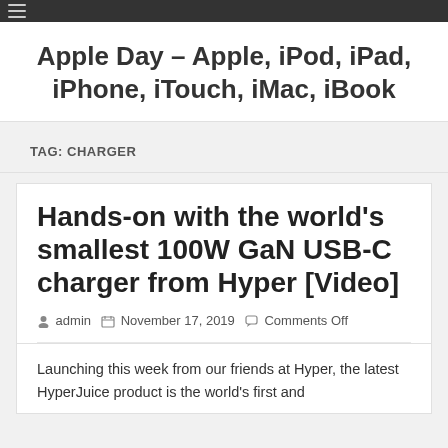≡
Apple Day – Apple, iPod, iPad, iPhone, iTouch, iMac, iBook
TAG: CHARGER
Hands-on with the world's smallest 100W GaN USB-C charger from Hyper [Video]
admin  November 17, 2019  Comments Off
Launching this week from our friends at Hyper, the latest HyperJuice product is the world's first and